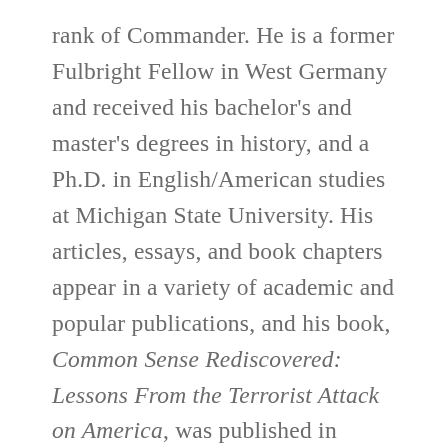rank of Commander. He is a former Fulbright Fellow in West Germany and received his bachelor's and master's degrees in history, and a Ph.D. in English/American studies at Michigan State University. His articles, essays, and book chapters appear in a variety of academic and popular publications, and his book, Common Sense Rediscovered: Lessons From the Terrorist Attack on America, was published in 2004. After over forty years as a high school principal, English professor, department chair, dean, academic vice president, and interim college president, he is retired and resides